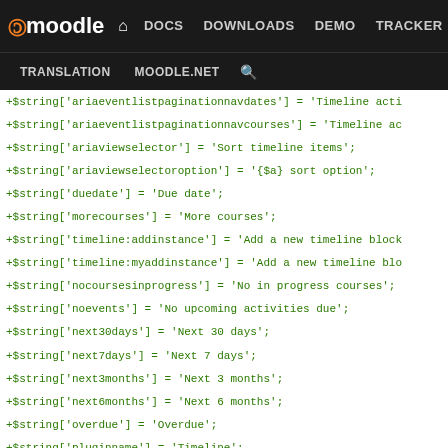moodle | DOCS DOWNLOADS DEMO TRACKER DEV | TRANSLATION MOODLE.NET
+$string['ariaeventlistpaginationnavdates'] = 'Timeline acti
+$string['ariaeventlistpaginationnavcourses'] = 'Timeline ac
+$string['ariaviewselector'] = 'Sort timeline items';
+$string['ariaviewselectoroption'] = '{$a} sort option';
+$string['duedate'] = 'Due date';
+$string['morecourses'] = 'More courses';
+$string['timeline:addinstance'] = 'Add a new timeline block
+$string['timeline:myaddinstance'] = 'Add a new timeline blo
+$string['nocoursesinprogress'] = 'No in progress courses';
+$string['noevents'] = 'No upcoming activities due';
+$string['next30days'] = 'Next 30 days';
+$string['next7days'] = 'Next 7 days';
+$string['next3months'] = 'Next 3 months';
+$string['next6months'] = 'Next 6 months';
+$string['overdue'] = 'Overdue';
+$string['pluginname'] = 'Timeline';
+$string['sortbycourses'] = 'Sort by courses';
+$string['sortbydates'] = 'Sort by dates';
+$string['timeline'] = 'Timeline';
+$string['viewcourse'] = 'View course';
+$string['privacy:metadata'] = 'The timeline block does not
diff --git a/blocks/myoverview/pix/activities.svg b/blocks/timeline/pix/activities.svg
similarity index 100%
rename from blocks/myoverview/pix/activities.svg